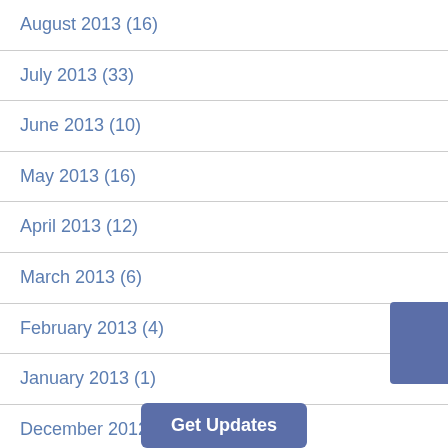August 2013 (16)
July 2013 (33)
June 2013 (10)
May 2013 (16)
April 2013 (12)
March 2013 (6)
February 2013 (4)
January 2013 (1)
December 2012 (3)
November 2012 (4)
Get Updates